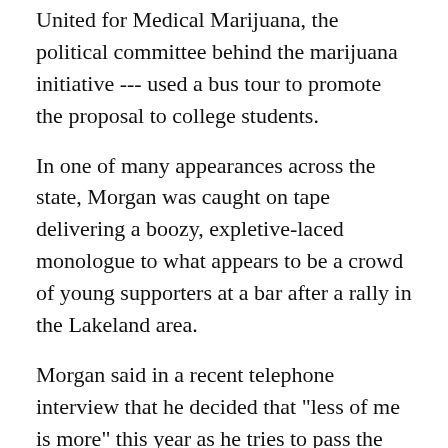United for Medical Marijuana, the political committee behind the marijuana initiative --- used a bus tour to promote the proposal to college students.
In one of many appearances across the state, Morgan was caught on tape delivering a boozy, expletive-laced monologue to what appears to be a crowd of young supporters at a bar after a rally in the Lakeland area.
Morgan said in a recent telephone interview that he decided that "less of me is more" this year as he tries to pass the amendment.
"I believe that you have to learn from the past, and last time I think that the bus tour was good at that time, but I don't think it would be good for this time," Morgan said. "I just think it's better to have this time a